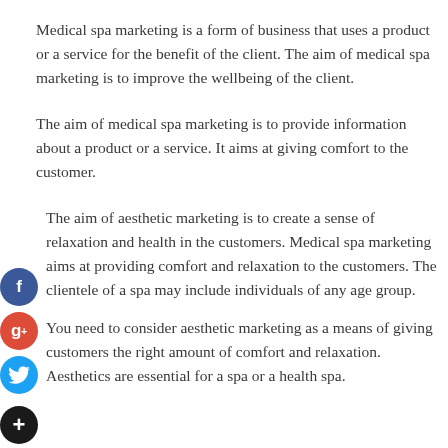Medical spa marketing is a form of business that uses a product or a service for the benefit of the client. The aim of medical spa marketing is to improve the wellbeing of the client.
The aim of medical spa marketing is to provide information about a product or a service. It aims at giving comfort to the customer.
The aim of aesthetic marketing is to create a sense of relaxation and health in the customers. Medical spa marketing aims at providing comfort and relaxation to the customers. The clientele of a spa may include individuals of any age group.
You need to consider aesthetic marketing as a means of giving customers the right amount of comfort and relaxation. Aesthetics are essential for a spa or a health spa.